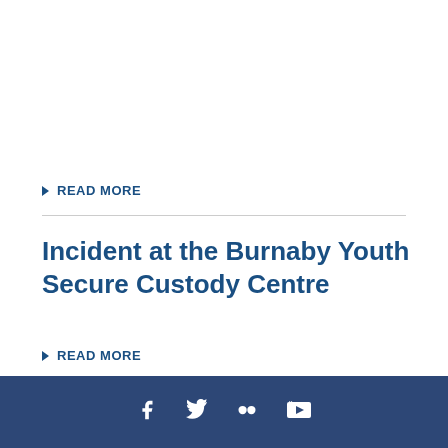READ MORE
Incident at the Burnaby Youth Secure Custody Centre
READ MORE
Social media icons: Facebook, Twitter, Flickr, YouTube